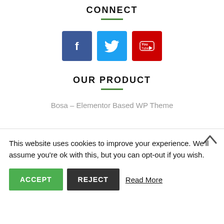CONNECT
[Figure (illustration): Three social media icon buttons: Facebook (blue, f icon), Twitter (light blue, bird icon), YouTube (red, play icon)]
OUR PRODUCT
Bosa – Elementor Based WP Theme
This website uses cookies to improve your experience. We'll assume you're ok with this, but you can opt-out if you wish.
ACCEPT   REJECT   Read More